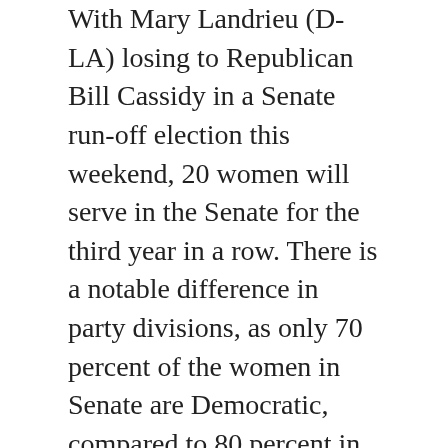With Mary Landrieu (D-LA) losing to Republican Bill Cassidy in a Senate run-off election this weekend, 20 women will serve in the Senate for the third year in a row. There is a notable difference in party divisions, as only 70 percent of the women in Senate are Democratic, compared to 80 percent in 2014.
Debbie Walsh, director of the Center for American Women in Politics, noted that years when Republicans win many elections often do no yield well for women. “While Republicans won big across the country,” she said, “women remain seriously underrepresented among GOP officeholders.”
The number of women in the US House of Representatives, however, has increased from 74